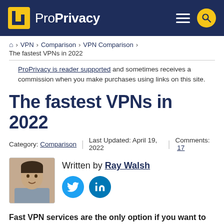ProPrivacy
🏠 › VPN › Comparison › VPN Comparison › The fastest VPNs in 2022
ProPrivacy is reader supported and sometimes receives a commission when you make purchases using links on this site.
The fastest VPNs in 2022
Category: Comparison | Last Updated: April 19, 2022 | Comments: 17
Written by Ray Walsh
Fast VPN services are the only option if you want to stream in HD, do video conferencing, or play games online. Data-intensive tasks require a super-fast VPN,